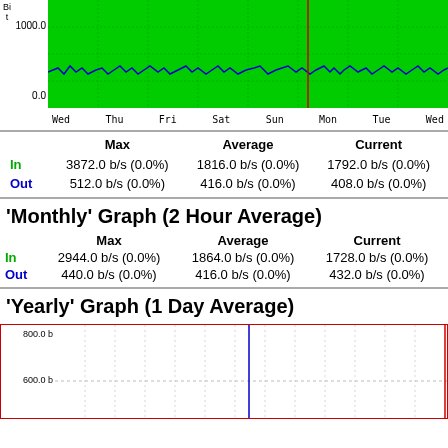[Figure (continuous-plot): Weekly network traffic graph (5 Minute Average) showing In and Out traffic over Wed-Wed period. Green area represents inbound traffic, blue line represents outbound. Y-axis shows bits/s with 1000.0 and 0.0 labels. X-axis shows days: Wed, Thu, Fri, Sat, Sun, Mon, Tue, Wed. Red vertical line marks current time near Mon.]
|  | Max | Average | Current |
| --- | --- | --- | --- |
| In | 3872.0 b/s (0.0%) | 1816.0 b/s (0.0%) | 1792.0 b/s (0.0%) |
| Out | 512.0 b/s (0.0%) | 416.0 b/s (0.0%) | 408.0 b/s (0.0%) |
'Monthly' Graph (2 Hour Average)
|  | Max | Average | Current |
| --- | --- | --- | --- |
| In | 2944.0 b/s (0.0%) | 1864.0 b/s (0.0%) | 1728.0 b/s (0.0%) |
| Out | 440.0 b/s (0.0%) | 416.0 b/s (0.0%) | 432.0 b/s (0.0%) |
'Yearly' Graph (1 Day Average)
[Figure (continuous-plot): Yearly network traffic graph (1 Day Average). Y-axis shows 800.0 b and 600.0 b labels. White background with dotted grid lines. Blue vertical line in middle area, red vertical line at right edge.]